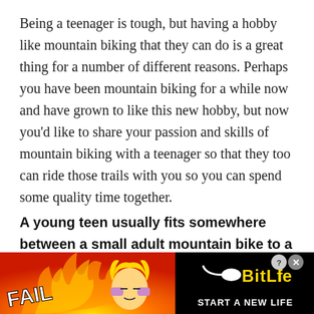Being a teenager is tough, but having a hobby like mountain biking that they can do is a great thing for a number of different reasons. Perhaps you have been mountain biking for a while now and have grown to like this new hobby, but now you'd like to share your passion and skills of mountain biking with a teenager so that they too can ride those trails with you so you can spend some quality time together.
A young teen usually fits somewhere between a small adult mountain bike to a large mountain bike depending on a variety of different things. A
[Figure (illustration): Advertisement banner for BitLife game. Red/orange fiery background on left with 'FAIL' text in white, cartoon blonde character with hands on face, flame graphics, and a sperm cell icon. Right side is black with 'BitLife' in yellow bold text and 'START A NEW LIFE' in white text below. Close/X buttons at top right.]